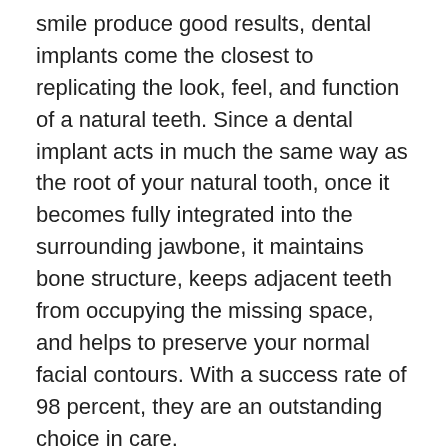smile produce good results, dental implants come the closest to replicating the look, feel, and function of a natural teeth. Since a dental implant acts in much the same way as the root of your natural tooth, once it becomes fully integrated into the surrounding jawbone, it maintains bone structure, keeps adjacent teeth from occupying the missing space, and helps to preserve your normal facial contours. With a success rate of 98 percent, they are an outstanding choice in care.
Dental implants can support either a single dental crown, multiple teeth with a dental bridge, or provide added stability to a denture. We will carefully assess your oral health and your smile needs to develop a customized treatment plan to rebuild and renew your smile.
Committed to excellence in oral care